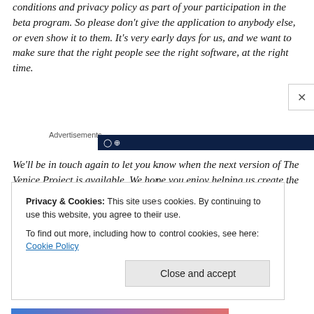conditions and privacy policy as part of your participation in the beta program. So please don't give the application to anybody else, or even show it to them. It's very early days for us, and we want to make sure that the right people see the right software, at the right time.
Advertisements
[Figure (other): Dark navy advertisement banner, partially visible]
We'll be in touch again to let you know when the next version of The Venice Project is available. We hope you enjoy helping us create the future of TV – thank you for
Privacy & Cookies: This site uses cookies. By continuing to use this website, you agree to their use.
To find out more, including how to control cookies, see here: Cookie Policy